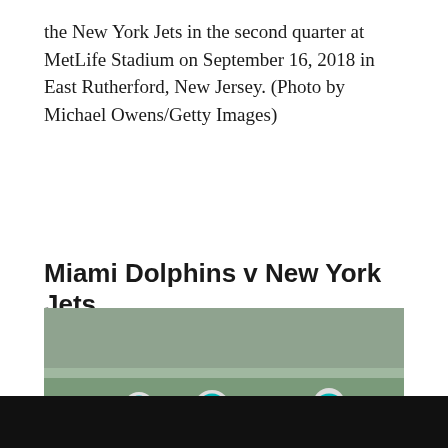the New York Jets in the second quarter at MetLife Stadium on September 16, 2018 in East Rutherford, New Jersey. (Photo by Michael Owens/Getty Images)
Miami Dolphins v New York Jets
[Figure (photo): Football game action photo showing Miami Dolphins (white jerseys, teal helmets, including player #93) tackling/blocking New York Jets players (green jerseys) on the field. Crowd visible in background. Score board showing '40' visible on right side.]